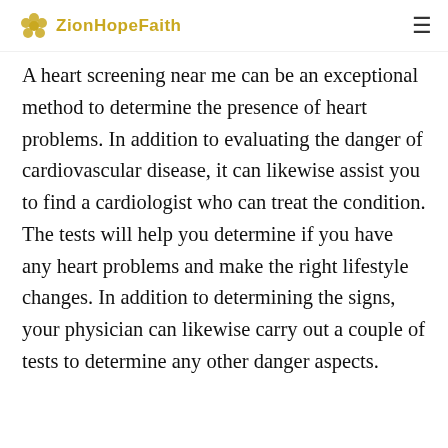ZionHopeFaith
A heart screening near me can be an exceptional method to determine the presence of heart problems. In addition to evaluating the danger of cardiovascular disease, it can likewise assist you to find a cardiologist who can treat the condition. The tests will help you determine if you have any heart problems and make the right lifestyle changes. In addition to determining the signs, your physician can likewise carry out a couple of tests to determine any other danger aspects.